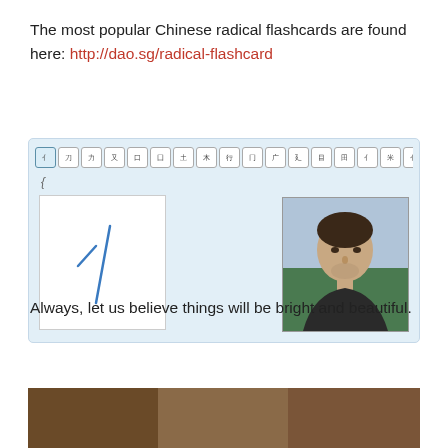The most popular Chinese radical flashcards are found here: http://dao.sg/radical-flashcard
[Figure (screenshot): A Chinese radical flashcard web app interface showing a row of small character buttons at the top, a large card area with the radical character 亻 drawn in blue on white, and a person's photo portrait on the right side.]
Always, let us believe things will be bright and beautiful.
[Figure (photo): Bottom portion of an outdoor photo, showing warm brownish tones, partially visible at the bottom of the page.]